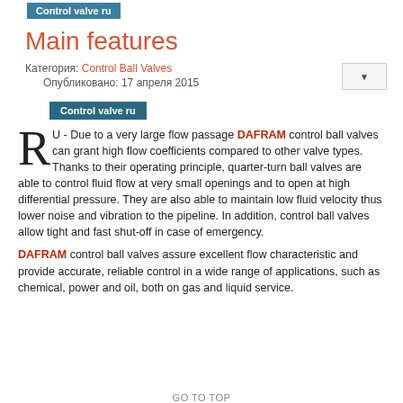Control valve ru
Main features
Категория: Control Ball Valves
Опубликовано: 17 апреля 2015
Control valve ru
RU - Due to a very large flow passage DAFRAM control ball valves can grant high flow coefficients compared to other valve types. Thanks to their operating principle, quarter-turn ball valves are able to control fluid flow at very small openings and to open at high differential pressure. They are also able to maintain low fluid velocity thus lower noise and vibration to the pipeline. In addition, control ball valves allow tight and fast shut-off in case of emergency.
DAFRAM control ball valves assure excellent flow characteristic and provide accurate, reliable control in a wide range of applications, such as chemical, power and oil, both on gas and liquid service.
GO TO TOP